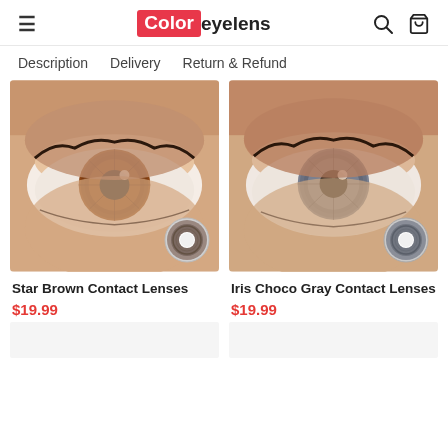Color eyelens — navigation header with hamburger menu, logo, search and cart icons
Description    Delivery    Return & Refund
[Figure (photo): Close-up photo of an eye wearing Star Brown Contact Lenses with a small lens swatch thumbnail in the bottom right]
Star Brown Contact Lenses
$19.99
[Figure (photo): Close-up photo of an eye wearing Iris Choco Gray Contact Lenses with a small lens swatch thumbnail in the bottom right]
Iris Choco Gray Contact Lenses
$19.99